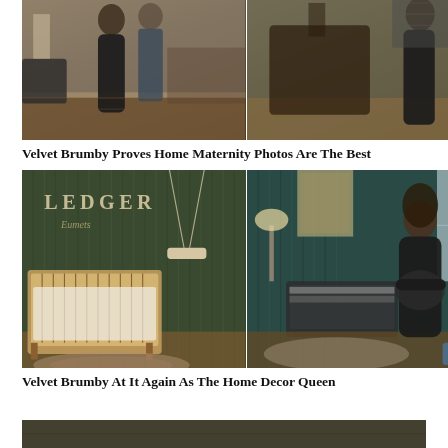[Figure (photo): Two-panel photo collage: left panel shows a pregnant woman in black dress with a man in a modern home interior with wood floors; right panel shows a pregnant woman in black dress posing near wooden furniture in a home setting.]
Velvet Brumby Proves Home Maternity Photos Are The Best
[Figure (photo): Two-panel nursery photo collage: left panel shows a wooden crib and a hanging swing in a nursery with dark green corrugated accent wall and the name LEDGER on the wall; right panel shows a pregnant woman in black standing in the same nursery room.]
Velvet Brumby At It Again As The Home Decor Queen
[Figure (photo): Partial photo visible at the bottom of the page, cropped — dark tones, appears to be another home/lifestyle photo.]